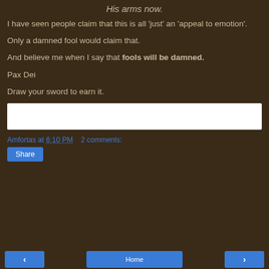His arms now.
I have seen people claim that this is all 'just' an 'appeal to emotion'.
Only a damned fool would claim that.
And believe me when I say that fools will be damned.
Pax Dei
Draw your sword to earn it.
[Figure (other): White input/text box area]
Amfortas at 6:10 PM   2 comments:
Share
< Home >